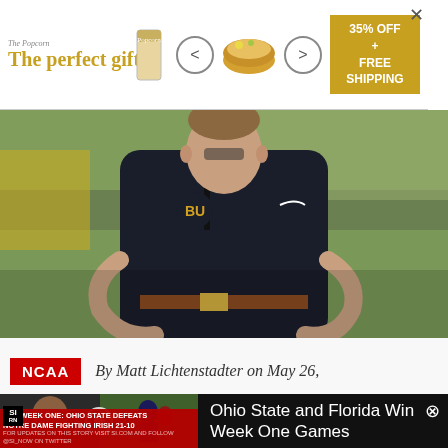[Figure (screenshot): Advertisement banner: 'The perfect gift' with bowl imagery, 35% OFF + FREE SHIPPING, with close button]
[Figure (photo): Baylor football coach in dark navy Nike pullover with BU logo, hands on hips, outdoors on field]
NCAA   By Matt Lichtenstadter on May 26,
[Figure (screenshot): Video overlay: SI CFB Week One: Ohio State Defeats Notre Dame Fighting Irish 21-10. Title: Ohio State and Florida Win Week One Games]